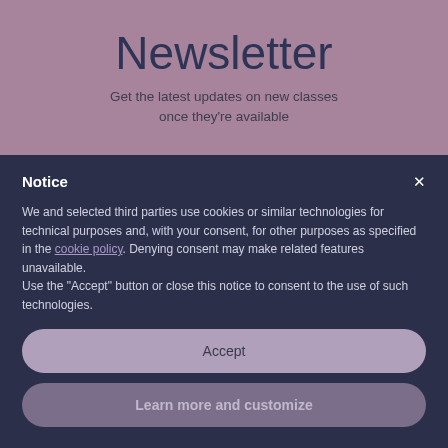Newsletter
Get the latest updates on new classes once they're available
Notice
We and selected third parties use cookies or similar technologies for technical purposes and, with your consent, for other purposes as specified in the cookie policy. Denying consent may make related features unavailable.
Use the "Accept" button or close this notice to consent to the use of such technologies.
Accept
Learn more and customize